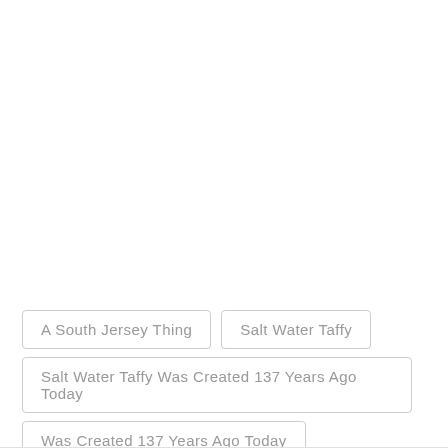A South Jersey Thing
Salt Water Taffy
Salt Water Taffy Was Created 137 Years Ago Today
Was Created 137 Years Ago Today